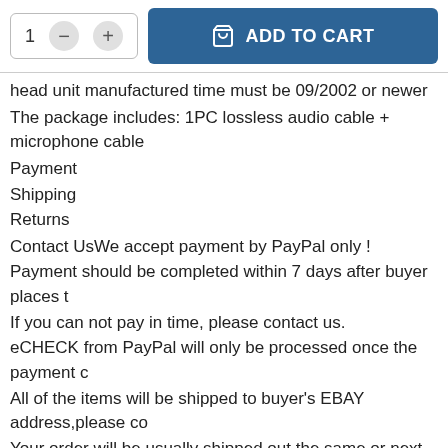[Figure (screenshot): E-commerce product page showing quantity selector and Add to Cart button]
head unit manufactured time must be 09/2002 or newer
The package includes: 1PC lossless audio cable + microphone cable
Payment
Shipping
Returns
Contact UsWe accept payment by PayPal only !
Payment should be completed within 7 days after buyer places t
If you can not pay in time, please contact us.
eCHECK from PayPal will only be processed once the payment c
All of the items will be shipped to buyer's EBAY address,please co
Your order will be usually shipped out the same or next business
All items will be checked before packing. All items are new and c
Item will be shipped within 1-3
business days upon receipt of payment, excluding weekends an
If to USA,we will ship your order by USPS,it will take about 6-8
working days to you,and you can track it on line.
If to other country we will ship your order by China Post or Singap